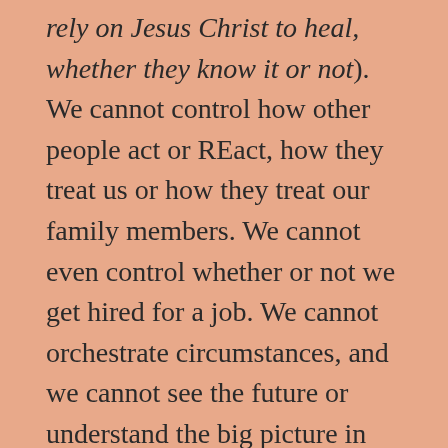rely on Jesus Christ to heal, whether they know it or not). We cannot control how other people act or REact, how they treat us or how they treat our family members. We cannot even control whether or not we get hired for a job. We cannot orchestrate circumstances, and we cannot see the future or understand the big picture in the way that God does. We are so limited...We NEED GOD (Father/Son/Holy Spirit)! When we try to CONTROL everything, we get overwhelmed, frustrated...